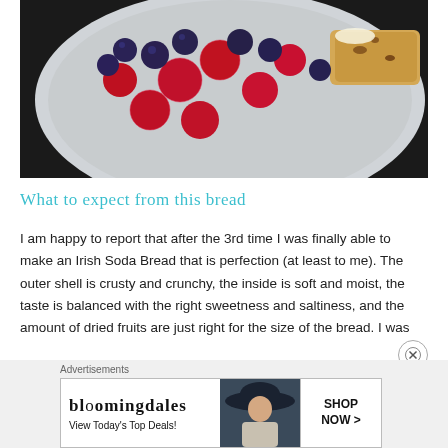[Figure (photo): Overhead photo of a white plate with raspberries, blueberries, and a piece of Irish soda bread with butter, on a dark background.]
What to expect from this bread
I am happy to report that after the 3rd time I was finally able to make an Irish Soda Bread that is perfection (at least to me). The outer shell is crusty and crunchy, the inside is soft and moist, the taste is balanced with the right sweetness and saltiness, and the amount of dried fruits are just right for the size of the bread. I was
[Figure (other): Bloomingdale's advertisement banner: 'Advertisements' label above. Ad reads: bloomingdales, View Today's Top Deals! with a woman in a hat and SHOP NOW > button.]